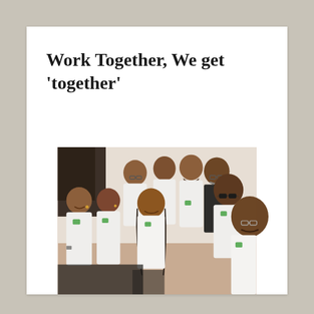Work Together, We get 'together'
[Figure (photo): A group photo of approximately 10 people wearing white polo shirts with a green logo, appearing to be a team or company group photo taken indoors. The group includes men and women of South Asian descent, some wearing glasses or sunglasses. One person in the front right appears to be taking a selfie.]